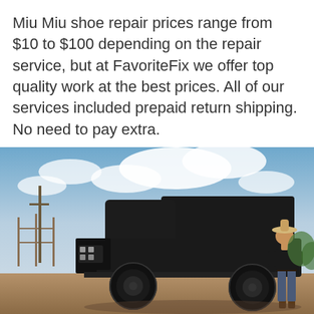Miu Miu shoe repair prices range from $10 to $100 depending on the repair service, but at FavoriteFix we offer top quality work at the best prices. All of our services included prepaid return shipping. No need to pay extra.
[Figure (photo): A large matte black angular pickup truck (resembling a futuristic/armored style) parked on a dirt lot with a man wearing a cowboy hat standing beside it. Background shows a partly cloudy sky and fencing.]